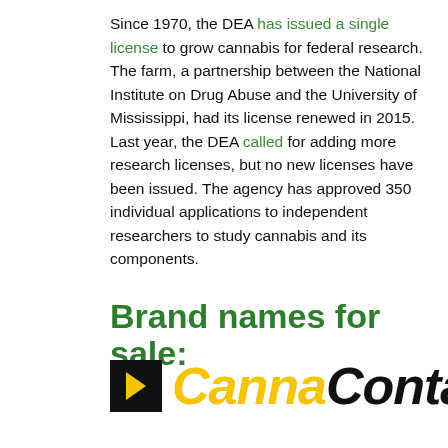Since 1970, the DEA has issued a single license to grow cannabis for federal research. The farm, a partnership between the National Institute on Drug Abuse and the University of Mississippi, had its license renewed in 2015. Last year, the DEA called for adding more research licenses, but no new licenses have been issued. The agency has approved 350 individual applications to independent researchers to study cannabis and its components.
Brand names for sale:
[Figure (logo): CannaContact logo: black square with a right-pointing arrow/chevron icon, followed by 'Canna' in yellow italic bold and 'Contact' in black italic bold]